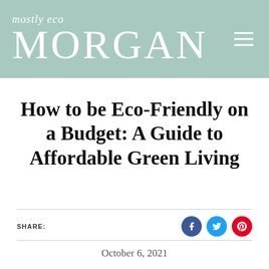mostly eco MORGAN
How to be Eco-Friendly on a Budget: A Guide to Affordable Green Living
SHARE:
October 6, 2021